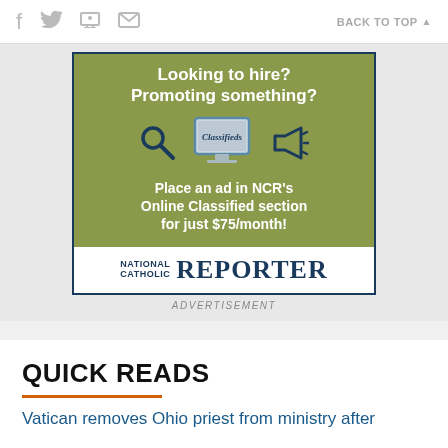f  (twitter icon)  (print icon)  (email icon)   BACK TO TOP ▲
[Figure (illustration): Advertisement for National Catholic Reporter's Online Classified section. Green background with magnifying glass and megaphone icons, computer monitor showing 'Classifieds', text: 'Looking to hire? Promoting something? Place an ad in NCR's Online Classified section for just $75/month!' with National Catholic Reporter logo at bottom.]
ADVERTISEMENT
QUICK READS
Vatican removes Ohio priest from ministry after